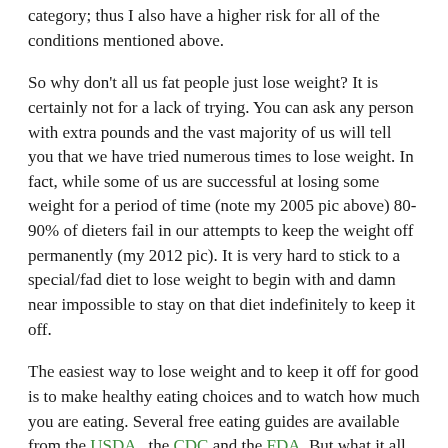category; thus I also have a higher risk for all of the conditions mentioned above.
So why don't all us fat people just lose weight? It is certainly not for a lack of trying. You can ask any person with extra pounds and the vast majority of us will tell you that we have tried numerous times to lose weight. In fact, while some of us are successful at losing some weight for a period of time (note my 2005 pic above) 80-90% of dieters fail in our attempts to keep the weight off permanently (my 2012 pic). It is very hard to stick to a special/fad diet to lose weight to begin with and damn near impossible to stay on that diet indefinitely to keep it off.
The easiest way to lose weight and to keep it off for good is to make healthy eating choices and to watch how much you are eating. Several free eating guides are available from the USDA, the CDC and the FDA. But what it all boils down to is Calories and that is not rocket science.